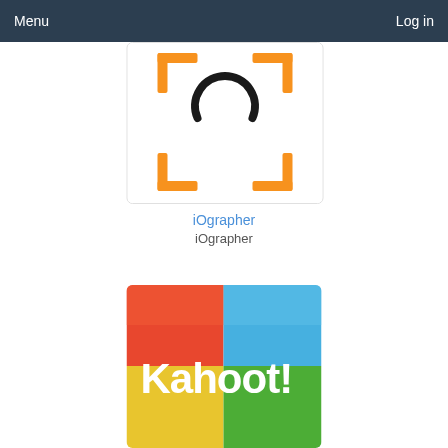Menu   Log in
[Figure (logo): iOgrapher app icon — white background with orange bracket corners and a black circle arc, partial view]
iOgrapher
iOgrapher
[Figure (logo): Kahoot! app icon — four colored quadrants (red-orange top-left, blue top-right, yellow-green bottom-left, green bottom-right) with white bold text 'Kahoot!']